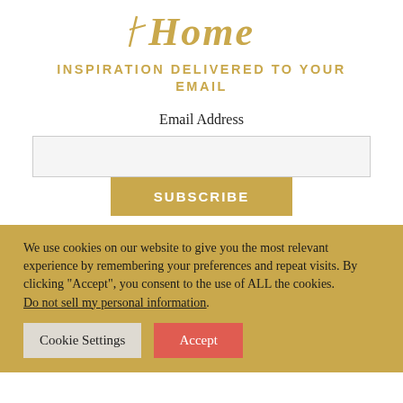[Figure (logo): Handwritten-style 'Home' logo text in gold/tan color]
INSPIRATION DELIVERED TO YOUR EMAIL
Email Address
SUBSCRIBE
We use cookies on our website to give you the most relevant experience by remembering your preferences and repeat visits. By clicking “Accept”, you consent to the use of ALL the cookies. Do not sell my personal information.
Cookie Settings
Accept